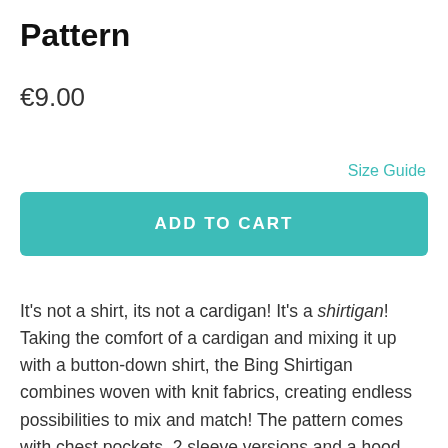Pattern
€9.00
Size Guide
ADD TO CART
It's not a shirt, its not a cardigan! It's a shirtigan! Taking the comfort of a cardigan and mixing it up with a button-down shirt, the Bing Shirtigan combines woven with knit fabrics, creating endless possibilities to mix and match! The pattern comes with chest pockets, 2 sleeve versions and a hood and base-ball collar option, both finished with a contrast